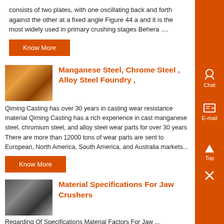consists of two plates, with one oscillating back and forth against the other at a fixed angle Figure 44 a and it is the most widely used in primary crushing stages Behera ....
Know More
[Figure (photo): Industrial machinery photo with orange/warm tones, likely jaw crusher or foundry equipment]
Manganese Steel, Chrome Steel , Alloy Steel Foundry ,
Qiming Casting has over 30 years in casting wear resistance material Qiming Casting has a rich experience in cast manganese steel, chromium steel, and alloy steel wear parts for over 30 years There are more than 12000 tons of wear parts are sent to European, North America, South America, and Australia markets...
Know More
[Figure (photo): Black and white or dark-toned photo of jaw crusher or mining equipment parts]
Material Specifications For Jaw Crushers
Regarding Of Specifications Material Factors For Jaw ...